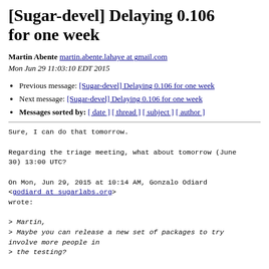[Sugar-devel] Delaying 0.106 for one week
Martin Abente martin.abente.lahaye at gmail.com
Mon Jun 29 11:03:10 EDT 2015
Previous message: [Sugar-devel] Delaying 0.106 for one week
Next message: [Sugar-devel] Delaying 0.106 for one week
Messages sorted by: [ date ] [ thread ] [ subject ] [ author ]
Sure, I can do that tomorrow.

Regarding the triage meeting, what about tomorrow (June 30) 13:00 UTC?

On Mon, Jun 29, 2015 at 10:14 AM, Gonzalo Odiard <godiard at sugarlabs.org> wrote:

> Martin,
> Maybe you can release a new set of packages to try involve more people in
> the testing?